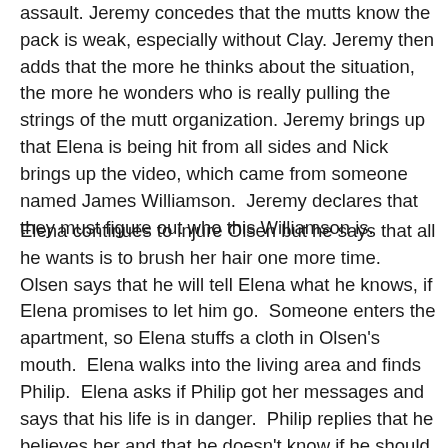assault. Jeremy concedes that the mutts know the pack is weak, especially without Clay. Jeremy then adds that the more he thinks about the situation, the more he wonders who is really pulling the strings of the mutt organization. Jeremy brings up that Elena is being hit from all sides and Nick brings up the video, which came from someone named James Williamson.  Jeremy declares that they must figure out who this Williamson is.
Elena continues to injure Olsen but he says that all he wants is to brush her hair one more time.  Olsen says that he will tell Elena what he knows, if Elena promises to let him go.  Someone enters the apartment, so Elena stuffs a cloth in Olsen's mouth.  Elena walks into the living area and finds Philip.  Elena asks if Philip got her messages and says that his life is in danger.  Philip replies that he believes her and that he doesn't know if he should be afraid of her and Elena cries saying that she tried hard to make this work  Philip points out that all he ever wanted was honesty.  Every time Elena moves close to Philip, he moves away.  Elena asks him to get as far away from her as he can but he is adamant that he is not going on the run.  Elena says that when they